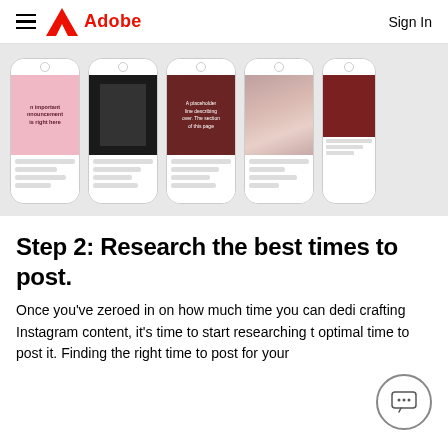Adobe
[Figure (screenshot): Row of smartphone mockups showing various Instagram post templates — pink announcement, dark fashion, dark red promotional, portrait photo, and partial red/white layout]
Step 2: Research the best times to post.
Once you've zeroed in on how much time you can dedi crafting Instagram content, it's time to start researching the optimal time to post it. Finding the right time to post for your audience is the best thing you can do to...